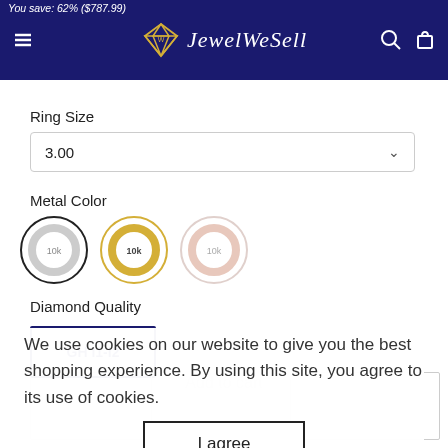You save: 62% ($787.99) — JewelWeSell
Ring Size
3.00
Metal Color
[Figure (illustration): Three circular ring metal color swatches labeled 10k: white gold (selected with dark border), yellow gold (selected with gold border), rose gold]
Diamond Quality
GH I1-I2
We use cookies on our website to give you the best shopping experience. By using this site, you agree to its use of cookies.
Add to cart
I agree